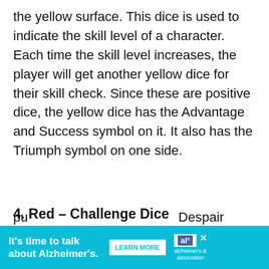the yellow surface. This dice is used to indicate the skill level of a character. Each time the skill level increases, the player will get another yellow dice for their skill check. Since these are positive dice, the yellow dice has the Advantage and Success symbol on it. It also has the Triumph symbol on one side.
4. Red – Challenge Dice
The red dice also has 12 sides but has white markings. This dice is used for extremely difficult levels. It functions much like the purple Despair symbol...
[Figure (other): Alzheimer's Association advertisement banner: 'It's time to talk about Alzheimer's.' with a LEARN MORE button and the Alzheimer's Association logo.]